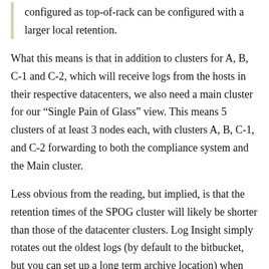configured as top-of-rack can be configured with a larger local retention.
What this means is that in addition to clusters for A, B, C-1 and C-2, which will receive logs from the hosts in their respective datacenters, we also need a main cluster for our “Single Pain of Glass” view. This means 5 clusters of at least 3 nodes each, with clusters A, B, C-1, and C-2 forwarding to both the compliance system and the Main cluster.
Less obvious from the reading, but implied, is that the retention times of the SPOG cluster will likely be shorter than those of the datacenter clusters. Log Insight simply rotates out the oldest logs (by default to the bitbucket, but you can set up a long term archive location) when the disk gets full, so as retention time...